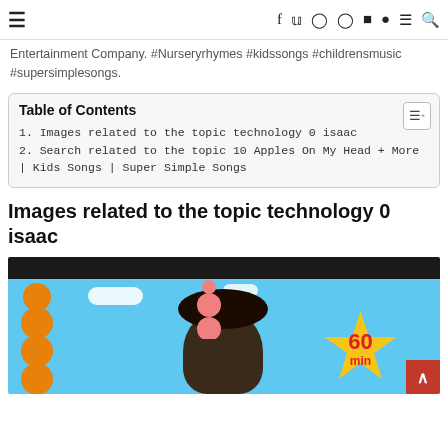≡   f  ✦  ◎   Pinterest  ▶  👻  ☰  🔍
Entertainment Company. #Nurseryrhymes #kidssongs #childrensmusic #supersimplesongs.
| Table of Contents |
| --- |
| 1. Images related to the topic technology 0 isaac |
| 2. Search related to the topic 10 Apples On My Head + More | Kids Songs | Super Simple Songs |
Images related to the topic technology 0 isaac
[Figure (photo): Animated children's video thumbnail showing a cartoon character with colorful stacked spheres/fruits on head, blue sky background, yellow star badge showing '60 min', dark header bar at top.]